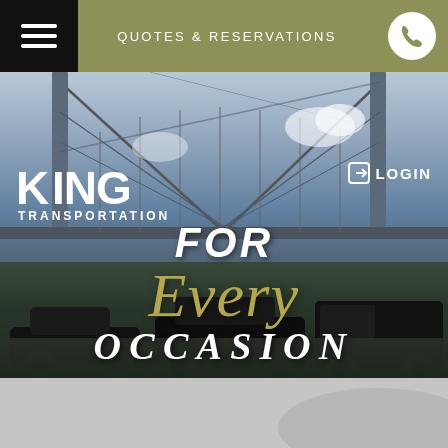QUOTES & RESERVATIONS
[Figure (screenshot): King Transportation website hero section showing three luxury black vehicles parked under a large suspension bridge, with overlay text 'FOR Every OCCASION']
KING TRANSPORTATION
LOGIN
FOR Every OCCASION